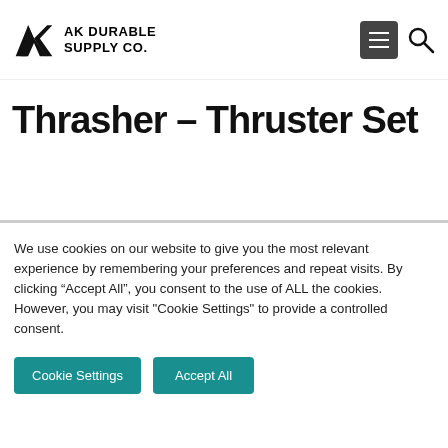AK DURABLE SUPPLY CO.
Thrasher – Thruster Set
We use cookies on our website to give you the most relevant experience by remembering your preferences and repeat visits. By clicking “Accept All”, you consent to the use of ALL the cookies. However, you may visit "Cookie Settings" to provide a controlled consent.